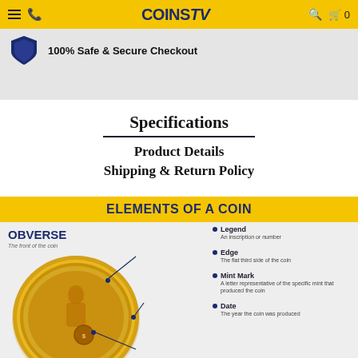COINSTV — 100% Safe & Secure Checkout
Specifications
Product Details
Shipping & Return Policy
[Figure (infographic): Elements of a Coin infographic showing an obverse gold coin with labeled parts: Legend (An inscription or number), Edge (The flat third side of the coin), Mint Mark (A letter representative of the specific mint that produced the coin), Date (The year the coin was produced). Title: ELEMENTS OF A COIN. Coin labeled OBVERSE — The front of the coin.]